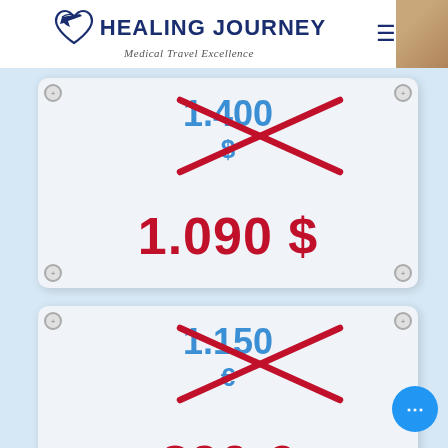[Figure (logo): Healing Journey logo with heart and airplane icon, tagline 'Medical Travel Excellence']
[Figure (infographic): Price card showing crossed-out price 1.400 $ and sale price 1.090 $]
[Figure (infographic): Price card showing crossed-out price 1.150 € and sale price 890 €]